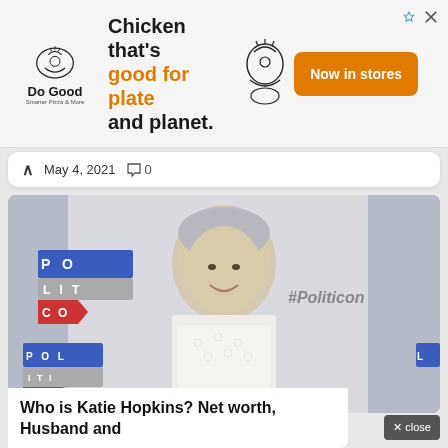[Figure (other): Do Good Chicken advertisement banner. Text: 'Chicken that's good for plate and planet.' with chicken illustrations and 'Now in stores' orange button.]
May 4, 2021  0
[Figure (photo): Photo of Katie Hopkins smiling at a Politicon event, wearing a white lace dress and pearl necklace. Politicon logos visible in background.]
Who is Katie Hopkins? Net worth, Husband and